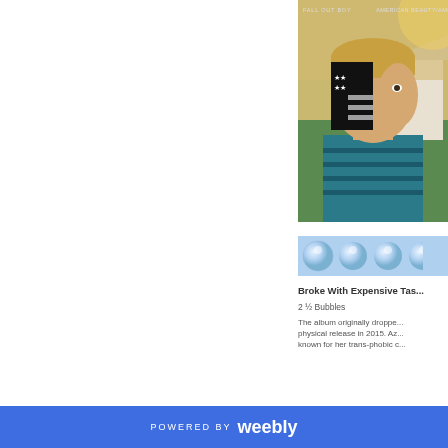[Figure (photo): Album cover for Fall Out Boy - American Beauty/American Psycho showing a young person with an American flag painted in black on their face, wearing a teal striped tank top, outdoors with suburban background. Text at top reads 'FALL OUT BOY' and 'AMERICAN BEAUTY/AME...']
[Figure (illustration): Rating graphic showing approximately 2.5 bubble/sphere icons on a light blue background, used as a star-rating equivalent]
Broke With Expensive Tas...
2 ½ Bubbles
The album originally droppe... physical release in 2015. Az... known for her trans-phobic c...
POWERED BY weebly